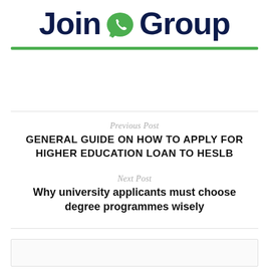[Figure (logo): Join WhatsApp Group logo with green WhatsApp phone icon between 'Join' and 'Group' text in dark navy blue, followed by a green horizontal bar]
Previous Post
GENERAL GUIDE ON HOW TO APPLY FOR HIGHER EDUCATION LOAN TO HESLB
Next Post
Why university applicants must choose degree programmes wisely